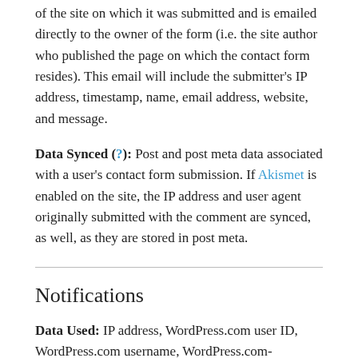of the site on which it was submitted and is emailed directly to the owner of the form (i.e. the site author who published the page on which the contact form resides). This email will include the submitter's IP address, timestamp, name, email address, website, and message.
Data Synced (?): Post and post meta data associated with a user's contact form submission. If Akismet is enabled on the site, the IP address and user agent originally submitted with the comment are synced, as well, as they are stored in post meta.
Notifications
Data Used: IP address, WordPress.com user ID, WordPress.com username, WordPress.com-connected site ID and URL, Jetpack version, user agent, visiting URL, referring URL, timestamp of event, browser language, country code. Some visitor-related